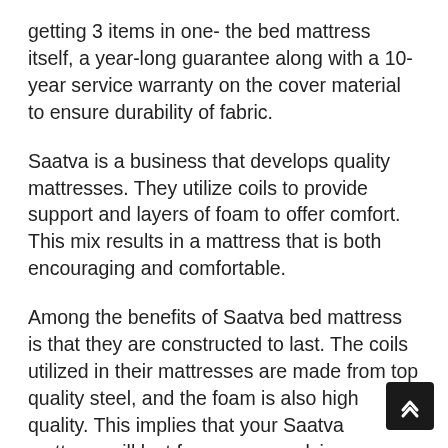getting 3 items in one- the bed mattress itself, a year-long guarantee along with a 10-year service warranty on the cover material to ensure durability of fabric.
Saatva is a business that develops quality mattresses. They utilize coils to provide support and layers of foam to offer comfort. This mix results in a mattress that is both encouraging and comfortable.
Among the benefits of Saatva bed mattress is that they are constructed to last. The coils utilized in their mattresses are made from top quality steel, and the foam is also high quality. This implies that your Saatva mattress will last for years, supplying you with comfortable sleep night after night.
Another benefit of a Saatva mattress is that they are personalized. You can select the firmness of your